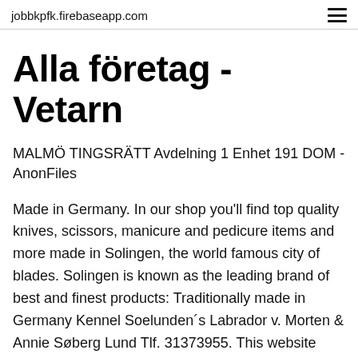jobbkpfk.firebaseapp.com
Alla företag - Vetarn
MALMÖ TINGSRÄTT Avdelning 1 Enhet 191 DOM - AnonFiles
Made in Germany. In our shop you'll find top quality knives, scissors, manicure and pedicure items and more made in Solingen, the world famous city of blades. Solingen is known as the leading brand of best and finest products: Traditionally made in Germany Kennel Soelunden´s Labrador v. Morten & Annie Søberg Lund Tlf. 31373955. This website uses cookies. By continuing to use this site, you